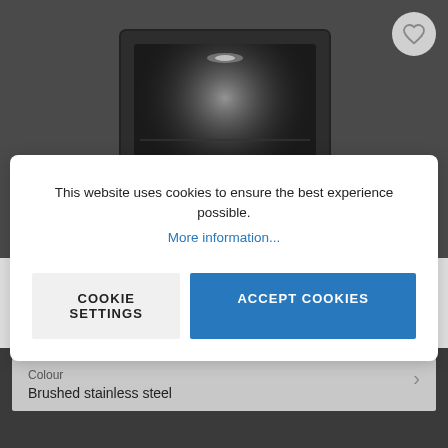[Figure (screenshot): Dark grey oven/microwave product image with interior lighting visible, shown on a dark background. A circular heart/favourite button is in the top-right corner.]
This website uses cookies to ensure the best experience possible.
More information...
COOKIE SETTINGS
ACCEPT COOKIES
€115.00*
Prices incl. VAT plus shipping costs
Colour
Brushed stainless steel